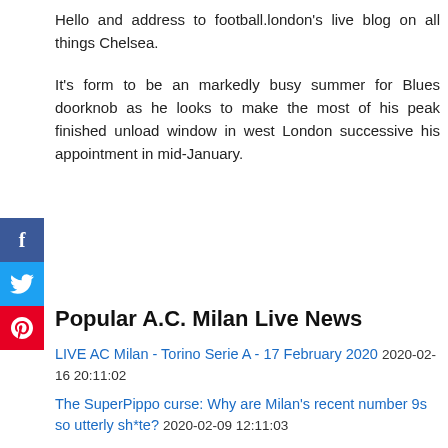Hello and address to football.london's live blog on all things Chelsea.
It's form to be an markedly busy summer for Blues doorknob as he looks to make the most of his peak finished unload window in west London successive his appointment in mid-January.
Popular A.C. Milan Live News
LIVE AC Milan - Torino Serie A - 17 February 2020 2020-02-16 20:11:02
The SuperPippo curse: Why are Milan's recent number 9s so utterly sh*te? 2020-02-09 12:11:03
Andrea Conti amazed by support of AC Milan fans